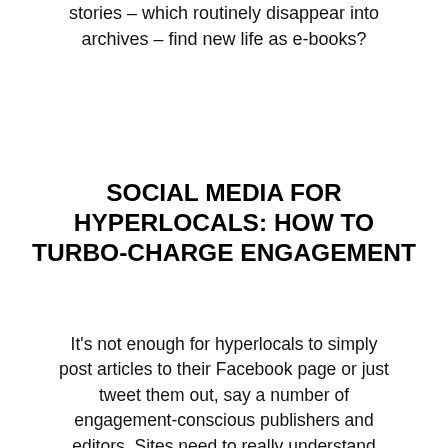stories – which routinely disappear into archives – find new life as e-books?
SOCIAL MEDIA FOR HYPERLOCALS: HOW TO TURBO-CHARGE ENGAGEMENT
It's not enough for hyperlocals to simply post articles to their Facebook page or just tweet them out, say a number of engagement-conscious publishers and editors. Sites need to really understand how social media can propel their brands